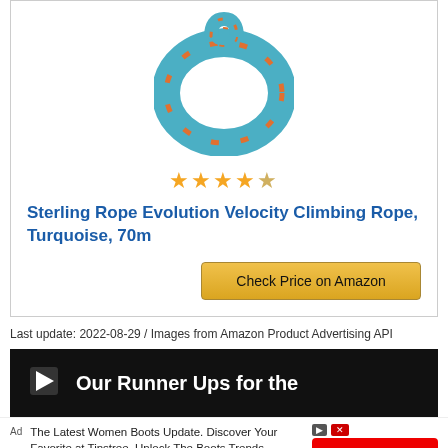[Figure (photo): A coiled turquoise and orange climbing rope shown from above, looped into a circle with the ends tied at top.]
★★★★☆
Sterling Rope Evolution Velocity Climbing Rope, Turquoise, 70m
Check Price on Amazon
Last update: 2022-08-29 / Images from Amazon Product Advertising API
Our Runner Ups for the
The Latest Women Boots Update. Discover Your Favorite at Tinstree, Unlock The Boots Trends
Shop Now